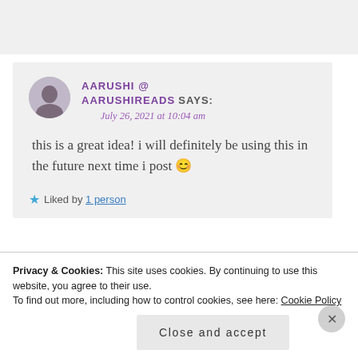[Figure (other): Gray placeholder box at the top of the page]
AARUSHI @ AARUSHIREADS SAYS:
July 26, 2021 at 10:04 am

this is a great idea! i will definitely be using this in the future next time i post 😊

★ Liked by 1 person
Privacy & Cookies: This site uses cookies. By continuing to use this website, you agree to their use.
To find out more, including how to control cookies, see here: Cookie Policy

Close and accept